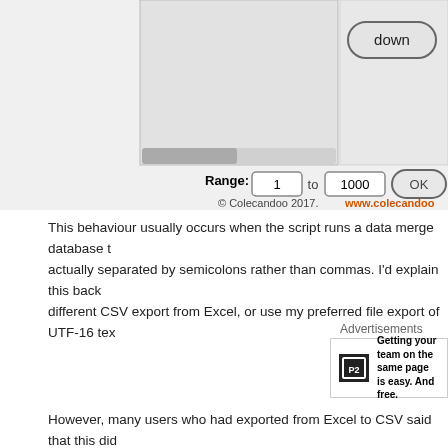[Figure (screenshot): Screenshot of a dialog box showing a 'down' button, a scrollbar, Range fields with values 1 and 1000, an OK button, and a copyright line '© Colecandoo 2017. www.colecandoo']
This behaviour usually occurs when the script runs a data merge database that is actually separated by semicolons rather than commas. I'd explain this back different CSV export from Excel, or use my preferred file export of UTF-16 text
Advertisements
[Figure (screenshot): Advertisement for P2 showing logo icon and text: Getting your team on the same page is easy. And free.]
However, many users who had exported from Excel to CSV said that this did problem persisted. Usually the problem was that – despite choosing CSV from software was still using semicolons as a delimiter rather than commas. Luckily usually resolved the issue.
On that note, I was uncomfortable with this issue and tried to replicate an E